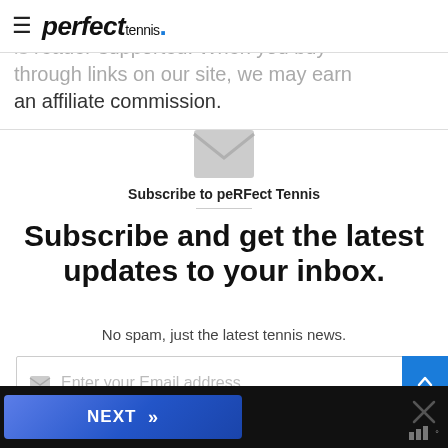perfect tennis.
is a reader-supported. When you buy through links on our site, we may earn an affiliate commission.
[Figure (illustration): Envelope / email icon in light gray]
Subscribe to peRFect Tennis
Subscribe and get the latest updates to your inbox.
No spam, just the latest tennis news.
Enter your Email address
NEXT